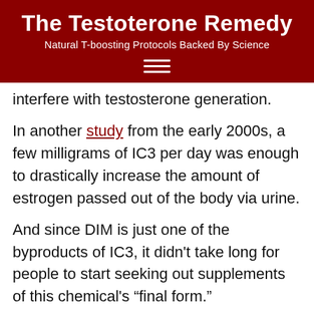The Testoterone Remedy
Natural T-boosting Protocols Backed By Science
interfere with testosterone generation.
In another study from the early 2000s, a few milligrams of IC3 per day was enough to drastically increase the amount of estrogen passed out of the body via urine.
And since DIM is just one of the byproducts of IC3, it didn’t take long for people to start seeking out supplements of this chemical’s “final form.”